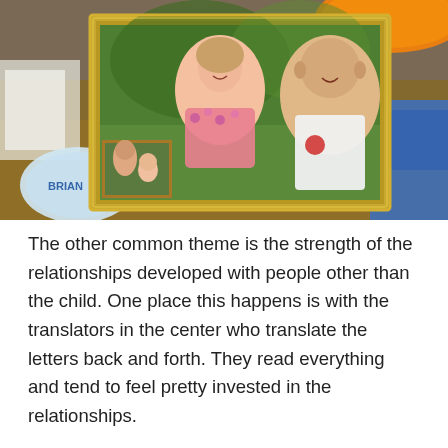[Figure (photo): A framed photograph on a table showing a smiling woman in a floral top and a bald man in a white shirt, with a smaller photo visible in the lower left. Various objects surround the frame including a plastic container labeled 'BRIAN', an orange frisbee at the top right, and a blue cloth.]
The other common theme is the strength of the relationships developed with people other than the child. One place this happens is with the translators in the center who translate the letters back and forth. They read everything and tend to feel pretty invested in the relationships.
But the strongest relationship tends to be with the child's mother (grandmother, aunt, whoever is taking